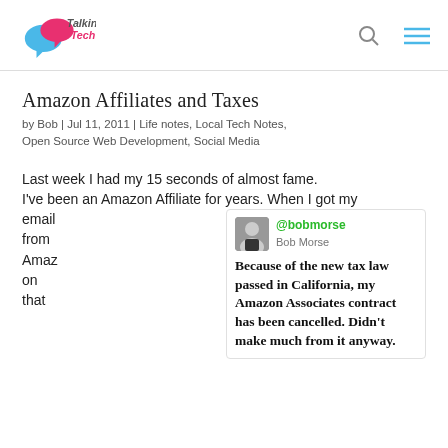Talking Tech
Amazon Affiliates and Taxes
by Bob | Jul 11, 2011 | Life notes, Local Tech Notes, Open Source Web Development, Social Media
Last week I had my 15 seconds of almost fame. I've been an Amazon Affiliate for years. When I got my email from Amazon that
[Figure (screenshot): Tweet by @bobmorse (Bob Morse): 'Because of the new tax law passed in California, my Amazon Associates contract has been cancelled. Didn't make much from it anyway.']